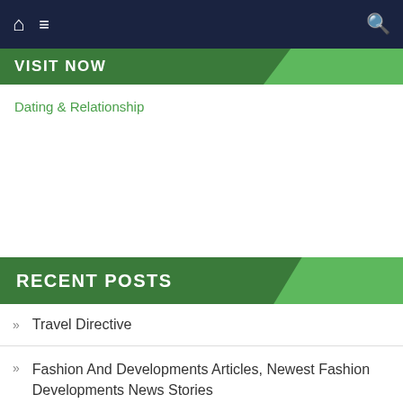Navigation bar with home, menu, and search icons
VISIT NOW
Dating & Relationship
RECENT POSTS
Travel Directive
Fashion And Developments Articles, Newest Fashion Developments News Stories
The Hindu Businessline
Automotive Middle